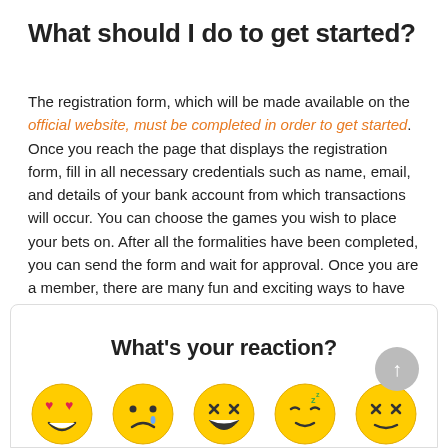What should I do to get started?
The registration form, which will be made available on the official website, must be completed in order to get started. Once you reach the page that displays the registration form, fill in all necessary credentials such as name, email, and details of your bank account from which transactions will occur. You can choose the games you wish to place your bets on. After all the formalities have been completed, you can send the form and wait for approval. Once you are a member, there are many fun and exciting ways to have fun.
What's your reaction?
[Figure (illustration): Row of emoji faces: heart-eyes, sad, laughing, sleepy, and crossed-eyes emojis]